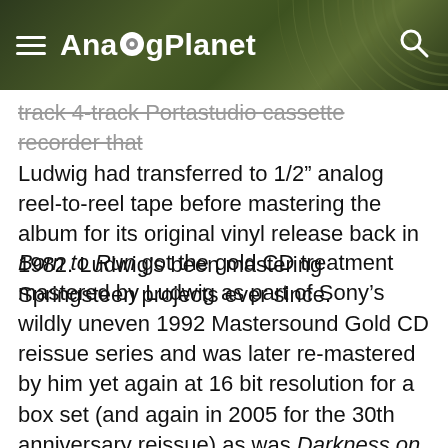AnalogPlanet
track 4-track Portastudio cassette recorder that Ludwig had transferred to 1/2" analog reel-to-reel tape before mastering the album for its original vinyl release back in 1982. Ludwig's been mastering Springsteen projects ever since.
Born to Run got the gold CD treatment mastered by Ludwig as part of Sony's wildly uneven 1992 Mastersound Gold CD reissue series and was later re-mastered by him yet again at 16 bit resolution for a box set (and again in 2005 for the 30th anniversary reissue) as was Darkness on the Edge of Town. The other five have never been re-mastered after their CD debuts. Ludwig says that Springsteen told him backstage that the 30th anniversary mastering was